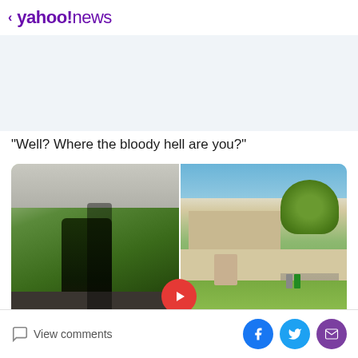< yahoo!news
"Well? Where the bloody hell are you?"
[Figure (photo): Two side-by-side photos: left shows a dark gap in a green hedge with gravel below; right shows an Australian suburban house exterior with fence, lawn, driveway, mailbox, and bins.]
View comments